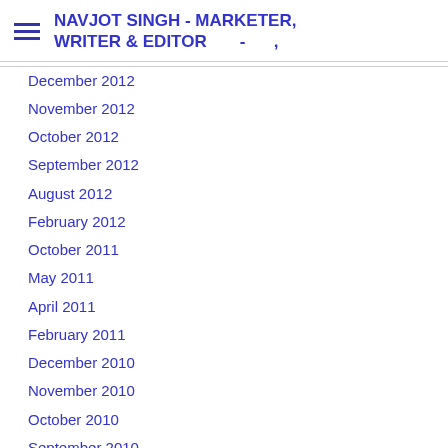NAVJOT SINGH - MARKETER, WRITER & EDITOR - ,
December 2012
November 2012
October 2012
September 2012
August 2012
February 2012
October 2011
May 2011
April 2011
February 2011
December 2010
November 2010
October 2010
September 2010
August 2010
April 2010
March 2010
February 2010